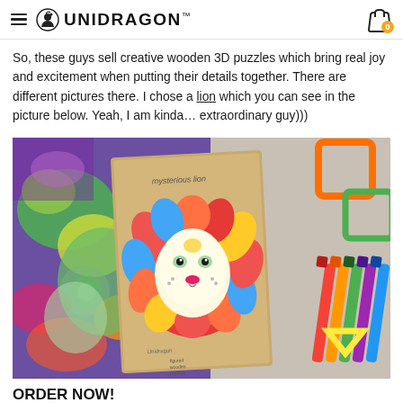UNIDRAGON™
So, these guys sell creative wooden 3D puzzles which bring real joy and excitement when putting their details together. There are different pictures there. I chose a lion which you can see in the picture below. Yeah, I am kinda… extraordinary guy)))
[Figure (photo): Photo of Unidragon 'Mysterious Lion' wooden puzzle box on a table surrounded by colorful art supplies and puzzle pieces. The box shows a vivid multicolored lion illustration on a cardboard backing.]
ORDER NOW!